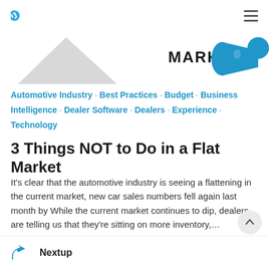Nextup logo and hamburger menu
[Figure (photo): Hero image strip showing a flat market graphic with megaphone and 'MARKET' text in bold, partially cropped]
Automotive Industry · Best Practices · Budget · Business Intelligence · Dealer Software · Dealers · Experience · Technology
3 Things NOT to Do in a Flat Market
It's clear that the automotive industry is seeing a flattening in the current market, new car sales numbers fell again last month by While the current market continues to dip, dealers are telling us that they're sitting on more inventory,…
Nextup